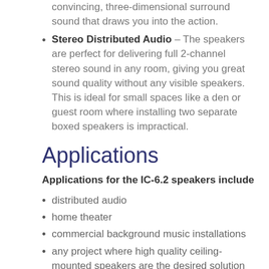Stereo Distributed Audio – The speakers are perfect for delivering full 2-channel stereo sound in any room, giving you great sound quality without any visible speakers. This is ideal for small spaces like a den or guest room where installing two separate boxed speakers is impractical.
Applications
Applications for the IC-6.2 speakers include
distributed audio
home theater
commercial background music installations
any project where high quality ceiling-mounted speakers are the desired solution
Engineered to match the timbre of our current IC-6.3/8.3 speakers, our theater sat/sub box speakers, and our H-PAS AT-1 and AT-2, the IC-6.2 represents the next logical extension of "Atlantic Everywhere".